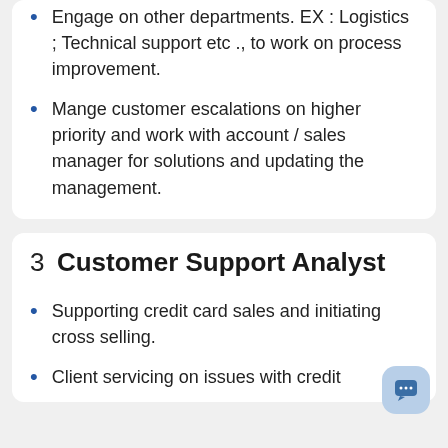Engage on other departments. EX : Logistics ; Technical support etc ., to work on process improvement.
Mange customer escalations on higher priority and work with account / sales manager for solutions and updating the management.
3  Customer Support Analyst
Supporting credit card sales and initiating cross selling.
Client servicing on issues with credit